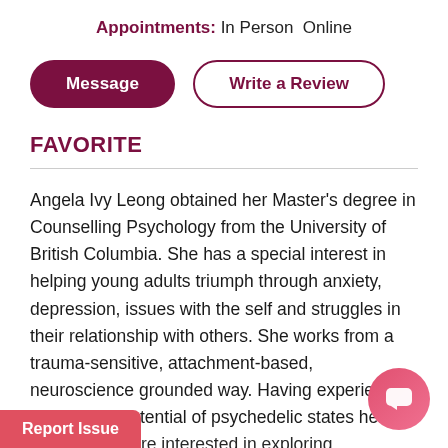Appointments: In Person Online
Message
Write a Review
FAVORITE
Angela Ivy Leong obtained her Master's degree in Counselling Psychology from the University of British Columbia. She has a special interest in helping young adults triumph through anxiety, depression, issues with the self and struggles in their relationship with others. She works from a trauma-sensitive, attachment-based, neuroscience grounded way. Having experienced the healing potential of psychedelic states herself, she ...s who are interested in exploring